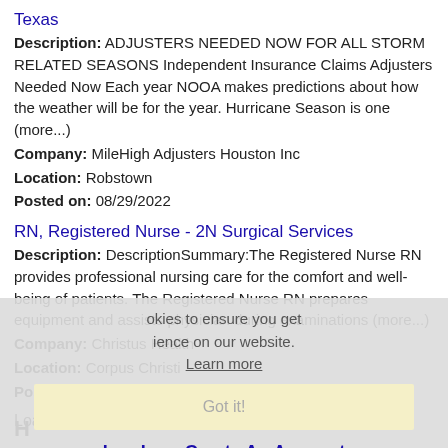Texas
Description: ADJUSTERS NEEDED NOW FOR ALL STORM RELATED SEASONS Independent Insurance Claims Adjusters Needed Now Each year NOOA makes predictions about how the weather will be for the year. Hurricane Season is one (more...)
Company: MileHigh Adjusters Houston Inc
Location: Robstown
Posted on: 08/29/2022
RN, Registered Nurse - 2N Surgical Services
Description: DescriptionSummary:The Registered Nurse RN provides professional nursing care for the comfort and well-being of patients. The Registered Nurse RN prepares equipment and assists physician during examinations (more...)
Company: Christus Health
Location: Corpus Christi
Posted on: 08/29/2022
Loading more jobs...
Log In or Create An Account